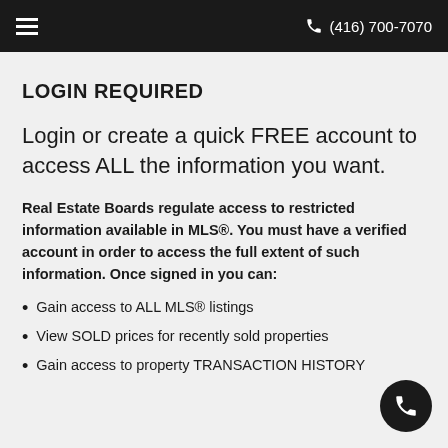☰   (416) 700-7070
LOGIN REQUIRED
Login or create a quick FREE account to access ALL the information you want.
Real Estate Boards regulate access to restricted information available in MLS®. You must have a verified account in order to access the full extent of such information. Once signed in you can:
Gain access to ALL MLS® listings
View SOLD prices for recently sold properties
Gain access to property TRANSACTION HISTORY